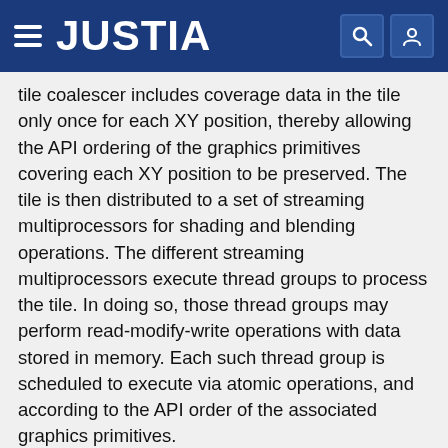JUSTIA
tile coalescer includes coverage data in the tile only once for each XY position, thereby allowing the API ordering of the graphics primitives covering each XY position to be preserved. The tile is then distributed to a set of streaming multiprocessors for shading and blending operations. The different streaming multiprocessors execute thread groups to process the tile. In doing so, those thread groups may perform read-modify-write operations with data stored in memory. Each such thread group is scheduled to execute via atomic operations, and according to the API order of the associated graphics primitives.
Type: Application
Filed: October 27, 2015
Publication date: April 27, 2017
Inventors: ZIYAD HAKURA, ERIC LUM, DALE KIRKLAND, JACK CHOQUETTE, PATRICK R. BROWN, YURY V. URALSKY